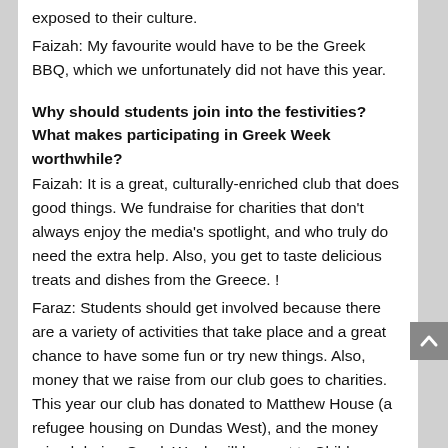exposed to their culture.
Faizah: My favourite would have to be the Greek BBQ, which we unfortunately did not have this year.
Why should students join into the festivities? What makes participating in Greek Week worthwhile?
Faizah: It is a great, culturally-enriched club that does good things. We fundraise for charities that don't always enjoy the media's spotlight, and who truly do need the extra help. Also, you get to taste delicious treats and dishes from the Greece. !
Faraz: Students should get involved because there are a variety of activities that take place and a great chance to have some fun or try new things. Also, money that we raise from our club goes to charities. This year our club has donated to Matthew House (a refugee housing on Dundas West), and the money raised during Greek Week will be sent to Child Soldiers Initiative.